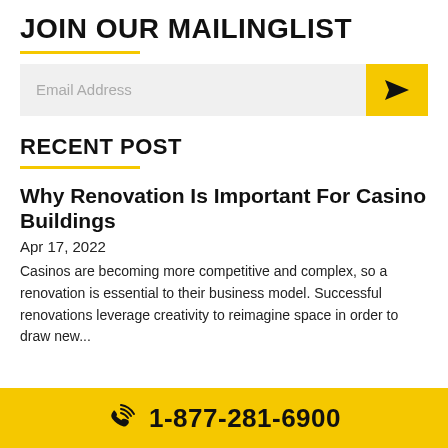JOIN OUR MAILINGLIST
[Figure (other): Email address input field with yellow send button]
RECENT POST
Why Renovation Is Important For Casino Buildings
Apr 17, 2022
Casinos are becoming more competitive and complex, so a renovation is essential to their business model. Successful renovations leverage creativity to reimagine space in order to draw new...
1-877-281-6900